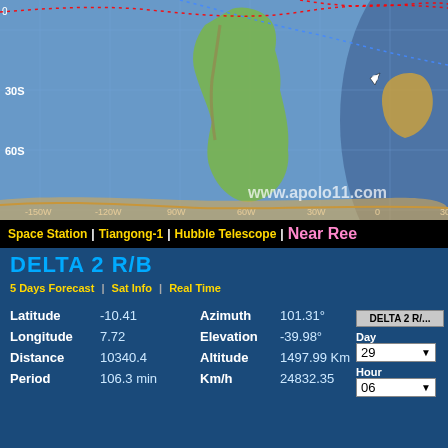[Figure (map): World map satellite ground track showing South America and southern Africa, with red and blue dotted trajectory lines across the map. Grid lines show latitude (30S, 60S) and longitude (-150W, -120W, -90W, -60W, -30W, 0, 30E). Website watermark: www.apolo11.com]
Space Station | Tiangong-1 | Hubble Telescope | Near Ree...
DELTA 2 R/B
5 Days Forecast  |  Sat Info  |  Real Time
| Latitude | -10.41 | Azimuth | 101.31° |
| Longitude | 7.72 | Elevation | -39.98° |
| Distance | 10340.4 | Altitude | 1497.99 Km |
| Period | 106.3 min | Km/h | 24832.35 |
DELTA 2 R/B — Day: 29, Hour: 06